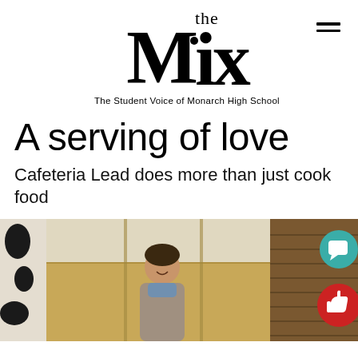the Mix — The Student Voice of Monarch High School
A serving of love
Cafeteria Lead does more than just cook food
[Figure (photo): A cafeteria worker smiling, photographed through a window inside a school cafeteria. The scene shows tiled walls, wooden slat panels on the right, and a cow-patterned surface on the far left. Two social media interaction icons (chat bubble and thumbs up) are visible on the right edge.]